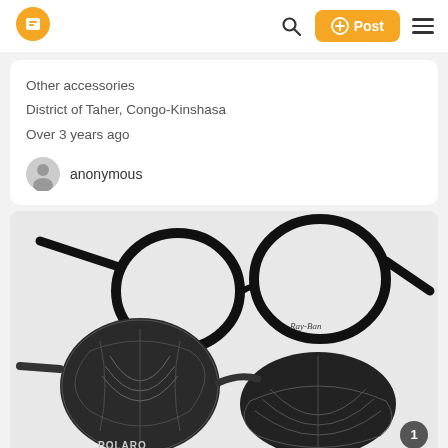[Figure (screenshot): Mobile app navigation bar with orange logo icon, search icon, orange Post button, and hamburger menu]
Other accessories
District of Taher, Congo-Kinshasa
Over 3 years ago
anonymous
[Figure (photo): Two pairs of Ray-Ban glasses on a white background: clear round frame glasses on top, dark polarized sunglasses with decorative patterned lenses below. Badge showing '1' in bottom right corner.]